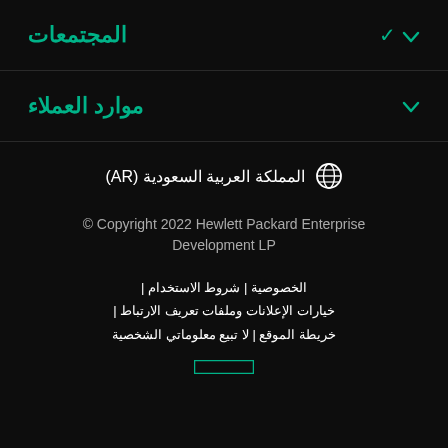المجتمعات
موارد العملاء
⊕ المملكة العربية السعودية (AR)
© Copyright 2022 Hewlett Packard Enterprise Development LP
الخصوصية | شروط الاستخدام | خيارات الإعلانات وملفات تعريف الارتباط | خريطة الموقع | لا تبيع معلوماتي الشخصية